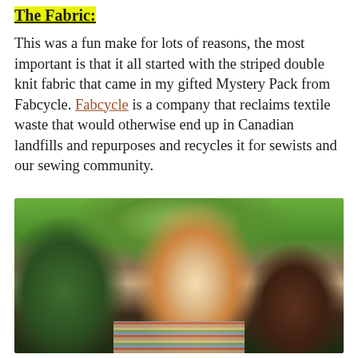The Fabric:
This was a fun make for lots of reasons, the most important is that it all started with the striped double knit fabric that came in my gifted Mystery Pack from Fabcycle. Fabcycle is a company that reclaims textile waste that would otherwise end up in Canadian landfills and repurposes and recycles it for sewists and our sewing community.
[Figure (photo): A smiling woman with blonde hair and sunglasses wearing a striped sleeveless top, photographed outdoors among green and red-leafed trees.]